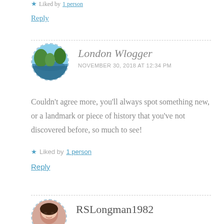★ Liked by 1 person
Reply
[Figure (photo): Circular avatar photo of London Wlogger showing a river/lake with trees]
London Wlogger
NOVEMBER 30, 2018 AT 12:34 PM
Couldn't agree more, you'll always spot something new, or a landmark or piece of history that you've not discovered before, so much to see!
★ Liked by 1 person
Reply
[Figure (photo): Circular avatar photo of RSLongman1982 showing a woman with dark hair]
RSLongman1982